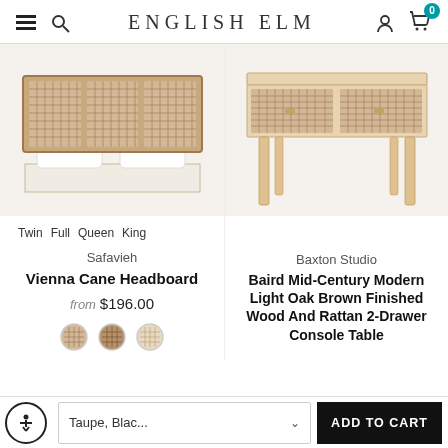ENGLISH ELM — navigation header with hamburger menu, search, user icon, cart (0)
[Figure (photo): Safavieh Vienna Cane Headboard — wooden headboard with rattan/cane panels, shown with white pillows on a bed]
[Figure (photo): Baxton Studio Baird Mid-Century Modern Light Oak Brown Finished Wood And Rattan 2-Drawer Console Table — light oak console table with two rattan-front drawers on tapered legs]
Twin  Full  Queen  King
Safavieh
Vienna Cane Headboard
from $196.00
Baxton Studio
Baird Mid-Century Modern Light Oak Brown Finished Wood And Rattan 2-Drawer Console Table
Taupe, Blac...
ADD TO CART